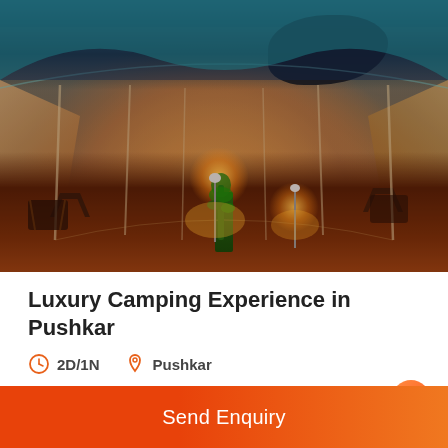[Figure (photo): Night-time photo of a luxury desert camping setup in Pushkar. Rows of white tents with teal/blue canopy fabric line both sides of a central sandy pathway. Warm orange/yellow lamp-post lights illuminate the path. A green plant is visible in the foreground. The sky above shows dramatic blue clouds. Folding chairs are visible on either side.]
Luxury Camping Experience in Pushkar
2D/1N   Pushkar
Send Enquiry